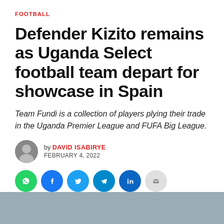FOOTBALL
Defender Kizito remains as Uganda Select football team depart for showcase in Spain
Team Fundi is a collection of players plying their trade in the Uganda Premier League and FUFA Big League.
by DAVID ISABIRYE
FEBRUARY 4, 2022
[Figure (infographic): Social share buttons: WhatsApp (green), Facebook (blue), Twitter (light blue), Telegram (blue), LinkedIn (dark blue), Email (grey)]
[Figure (photo): Bottom strip of a photograph, partially visible]